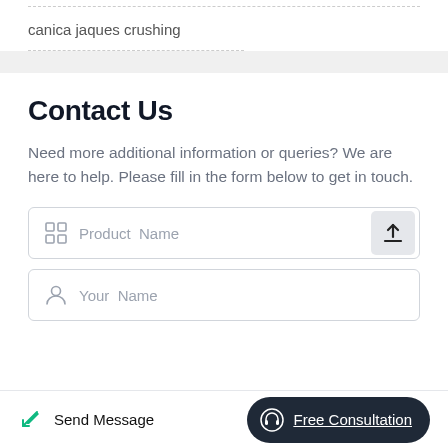canica jaques crushing
Contact Us
Need more additional information or queries? We are here to help. Please fill in the form below to get in touch.
Product Name (form field with upload button)
Your Name (form field)
Send Message   Free Consultation